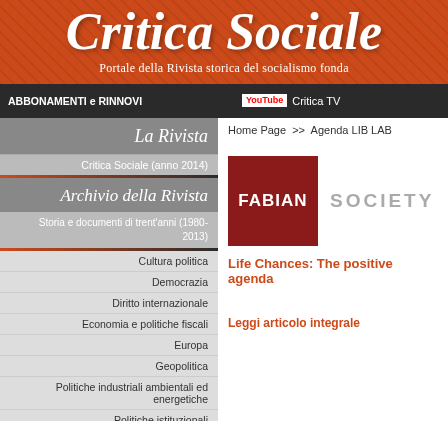Critica Sociale
Portale della Rivista storica del socialismo fonda
ABBONAMENTI e RINNOVI | YouTube Critica TV
Home Page >> Agenda LIB LAB
La Rivista
Critica Sociale (anno 2014)
Archivio della Rivista
Storia e documenti di trent'anni (1980-2013)
Cultura politica
Democrazia
Diritto internazionale
Economia e politiche fiscali
Europa
Geopolitica
Politiche industriali ambientali ed energetiche
Politiche istituzionali
[Figure (logo): Fabian Society logo: dark red square with white text FABIAN and grey text SOCIETY]
Life Chances: The positive agenda
Leggi articolo integrale